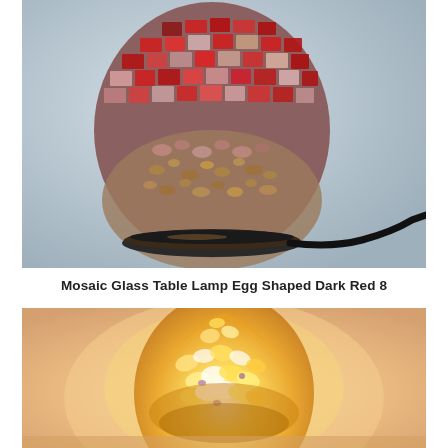[Figure (photo): Mosaic glass table lamp with egg-shaped globe covered in red, pink, and gold mosaic tiles, sitting on a black round base with a black power cord visible to the right, photographed against a light blue-gray background.]
Mosaic Glass Table Lamp Egg Shaped Dark Red 8
[Figure (photo): Illuminated mosaic glass egg-shaped lamp glowing in warm amber/yellow tones with yellow and white mosaic petal-like pieces, small purple accents, photographed against a warm peach/pink glowing background.]